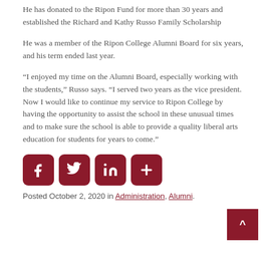He has donated to the Ripon Fund for more than 30 years and established the Richard and Kathy Russo Family Scholarship
He was a member of the Ripon College Alumni Board for six years, and his term ended last year.
“I enjoyed my time on the Alumni Board, especially working with the students,” Russo says. “I served two years as the vice president. Now I would like to continue my service to Ripon College by having the opportunity to assist the school in these unusual times and to make sure the school is able to provide a quality liberal arts education for students for years to come.”
[Figure (other): Social media share buttons: Facebook, Twitter, LinkedIn, More (+)]
Posted October 2, 2020 in Administration, Alumni.